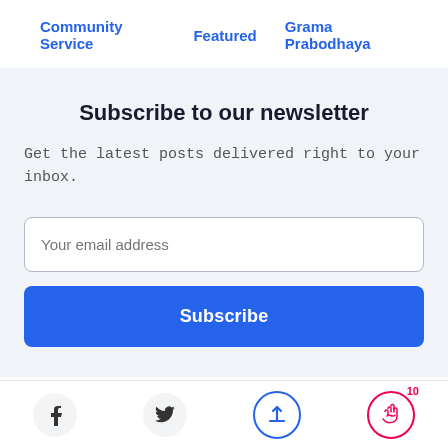Community Service   Featured   Grama Prabodhaya
Subscribe to our newsletter
Get the latest posts delivered right to your inbox.
[Figure (screenshot): Email subscription form with a text input field labeled 'Your email address' and a blue 'Subscribe' button below it]
Social icons: Facebook, Twitter, Share (blue circle), Clap/applause (red circle badge 10)